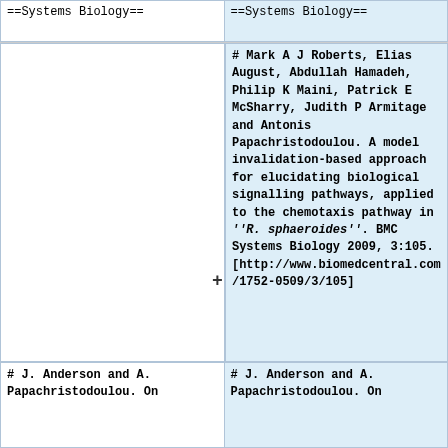==Systems Biology==
==Systems Biology==
# Mark A J Roberts, Elias August, Abdullah Hamadeh, Philip K Maini, Patrick E McSharry, Judith P Armitage and Antonis Papachristodoulou. A model invalidation-based approach for elucidating biological signalling pathways, applied to the chemotaxis pathway in ''R. sphaeroides''. BMC Systems Biology 2009, 3:105. [http://www.biomedcentral.com/1752-0509/3/105]
# J. Anderson and A. Papachristodoulou. On
# J. Anderson and A. Papachristodoulou. On